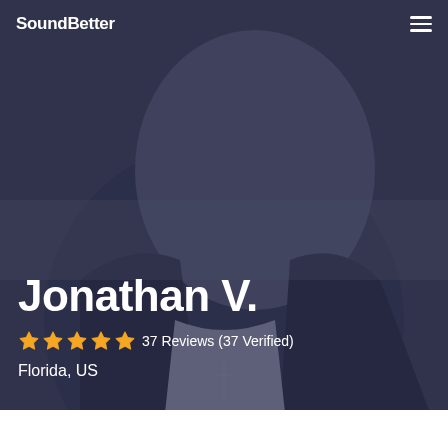SoundBetter
Jonathan V.
37 Reviews (37 Verified)
Florida, US
[Figure (photo): Background photo of a man wearing sunglasses and a dark jacket with a cross necklace, overlaid with a dark blue-grey tint]